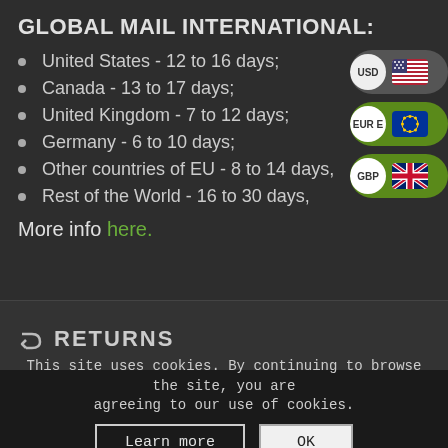GLOBAL MAIL INTERNATIONAL:
United States - 12 to 16 days;
Canada - 13 to 17 days;
United Kingdom - 7 to 12 days;
Germany - 6 to 10 days;
Other countries of EU - 8 to 14 days,
Rest of the World - 16 to 30 days,
More info here.
[Figure (screenshot): Currency selector panel showing USD with US flag, EUR with EU flag, GBP with UK flag]
RETURNS
This site uses cookies. By continuing to browse the site, you are agreeing to our use of cookies.
Learn more  OK